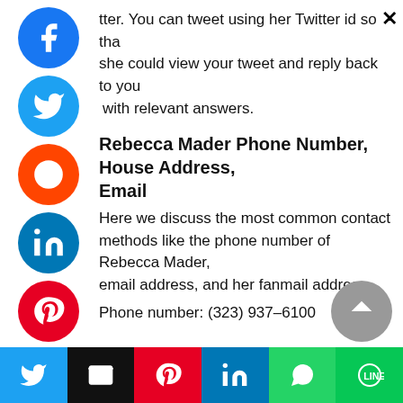tter. You can tweet using her Twitter id so that she could view your tweet and reply back to you with relevant answers.
Rebecca Mader Phone Number, House Address, Email
Here we discuss the most common contact methods like the phone number of Rebecca Mader, email address, and her fanmail address.
Phone number: (323) 937–6100
[Figure (infographic): Social share icons column on left: Facebook, Twitter, Reddit, LinkedIn, Pinterest, MeWe, and one more orange icon]
[Figure (infographic): Bottom share bar with Twitter, Email, Pinterest, LinkedIn, WhatsApp, Line buttons]
[Figure (infographic): Scroll-to-top grey circle button with triangle arrow]